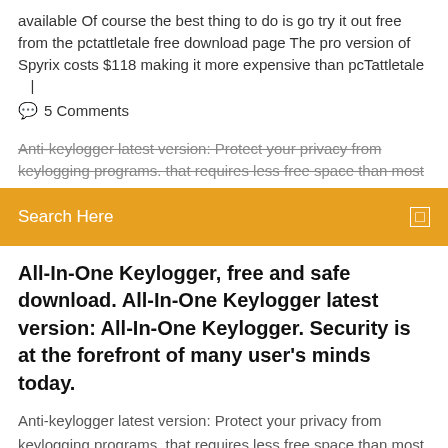available Of course the best thing to do is go try it out free from the pctattletale free download page The pro version of Spyrix costs $118 making it more expensive than pcTattletale   |
💬  5 Comments
Anti-keylogger latest version: Protect your privacy from keylogging programs. that requires less free space than most
Search Here
All-In-One Keylogger, free and safe download. All-In-One Keylogger latest version: All-In-One Keylogger. Security is at the forefront of many user's minds today.
Anti-keylogger latest version: Protect your privacy from keylogging programs. that requires less free space than most programs in the section Security software. Free Keylogger is a covert little tool for recording keystrokes, apps used, and websites visited and TIP: Click Here to Repair/Restore Missing Windows Files. Ardamax Keylogger, free and safe download. Ardamax Keylogger latest version: Monitoring and Logging